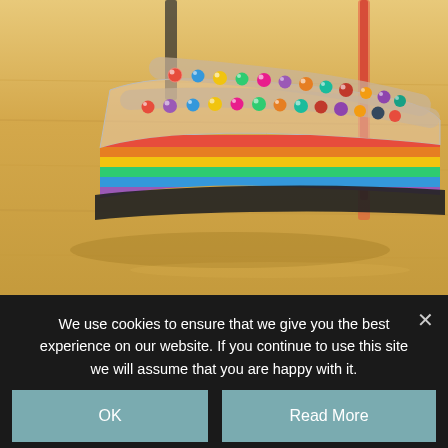[Figure (photo): Close-up photo of a colorful high-heel sandal decorated with multicolored metallic beads/studs along the straps, with a rainbow-striped footbed, resting on a light wood floor.]
We use cookies to ensure that we give you the best experience on our website. If you continue to use this site we will assume that you are happy with it.
OK
Read More